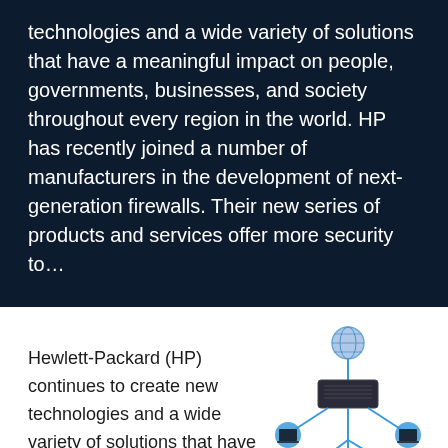technologies and a wide variety of solutions that have a meaningful impact on people, governments, businesses, and society throughout every region in the world. HP has recently joined a number of manufacturers in the development of next-generation firewalls. Their new series of products and services offer more security to…
Hewlett-Packard (HP) continues to create new technologies and a wide variety of solutions that have a meaningful impact on…
[Figure (network-graph): Network diagram showing a globe at the top connected to a router/switch, which branches out to multiple laptops arranged in a tree topology with blue circular nodes and connecting lines.]